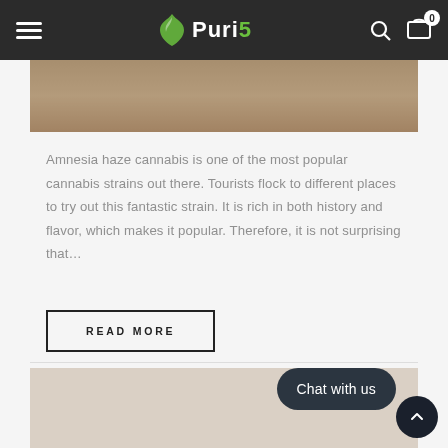Puri5 — navigation header with hamburger menu, logo, search icon, and cart icon (0 items)
[Figure (photo): Partial hero/banner image visible at top of content area, showing a blurred cannabis-related background image in warm brown tones]
Amnesia haze cannabis is one of the most popular cannabis strains out there. Tourists flock to different places to try out this fantastic strain. It is rich in both history and flavor, which makes it popular. Therefore, it is not surprising that…
READ MORE
[Figure (photo): Partial image at bottom of page, partially cropped, light beige/grey tones]
Chat with us